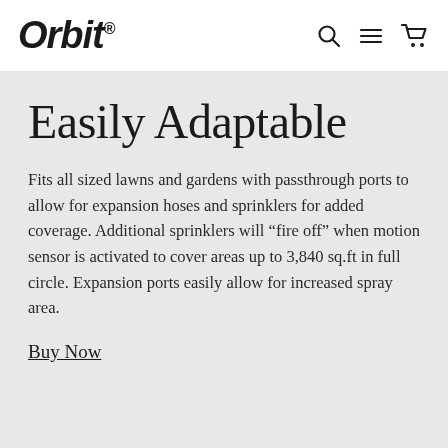Orbit®
Easily Adaptable
Fits all sized lawns and gardens with passthrough ports to allow for expansion hoses and sprinklers for added coverage. Additional sprinklers will “fire off” when motion sensor is activated to cover areas up to 3,840 sq.ft in full circle. Expansion ports easily allow for increased spray area.
Buy Now